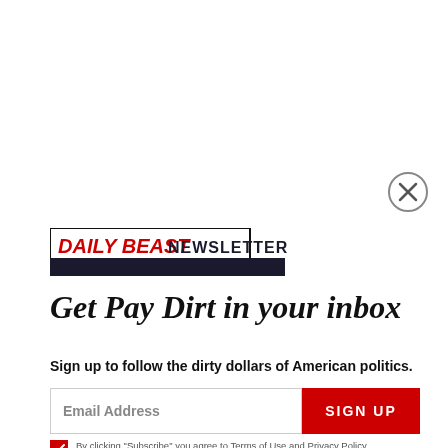[Figure (logo): Close button (X in circle) for dismissing the newsletter popup]
[Figure (logo): Daily Beast Newsletter logo — DAILY BEAST in red italic bold, NEWSLETTER in dark bold, with dark background bar below]
Get Pay Dirt in your inbox
Sign up to follow the dirty dollars of American politics.
Email Address  SIGN UP
By clicking "Subscribe" you agree to Terms of Use and Privacy Policy.